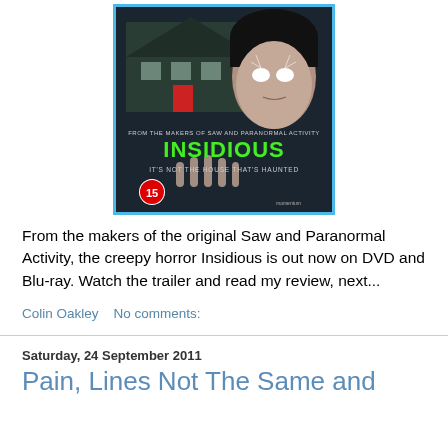[Figure (photo): Blu-ray cover of the horror film Insidious, showing a child with glowing eyes, a house in the background, green title text 'INSIDIOUS', tagline 'IT'S NOT THE HOUSE THAT'S HAUNTED', '15' rating badge, and 'FROM THE MAKERS OF SAW AND PARANORMAL ACTIVITY' text. Blue border around the case.]
From the makers of the original Saw and Paranormal Activity, the creepy horror Insidious is out now on DVD and Blu-ray. Watch the trailer and read my review, next...
Colin Oakley    No comments:
Saturday, 24 September 2011
Pain, Lines Not The Same and